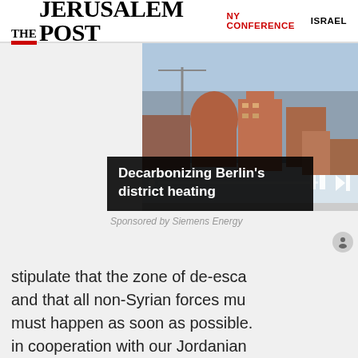THE JERUSALEM POST | NY CONFERENCE | ISRAEL
[Figure (screenshot): Video player showing aerial view of Berlin buildings with play/pause controls and progress bar. Caption overlay reads 'Decarbonizing Berlin’s district heating'. Sponsored by Siemens Energy.]
Sponsored by Siemens Energy
stipulate that the zone of de-esca and that all non-Syrian forces mu must happen as soon as possible. in cooperation with our Jordanian according to TASS.